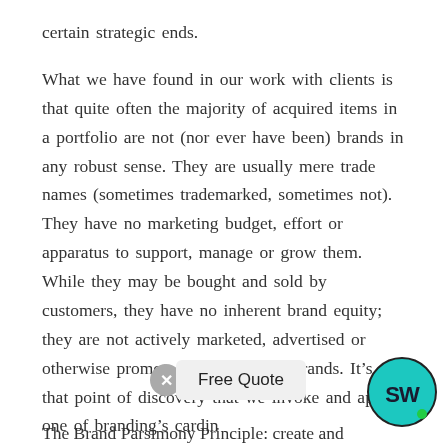certain strategic ends.

What we have found in our work with clients is that quite often the majority of acquired items in a portfolio are not (nor ever have been) brands in any robust sense. They are usually mere trade names (sometimes trademarked, sometimes not). They have no marketing budget, effort or apparatus to support, manage or grow them. While they may be bought and sold by customers, they have no inherent brand equity; they are not actively marketed, advertised or otherwise promoted. They are not brands. It’s at that point of discovery that we invoke and apply one of branding’s cardin...
The Brand Parsimony Principle: create and
[Figure (logo): Circular logo with teal/cyan background and stylized 'SW' monogram in dark color, with a small green dot at bottom right]